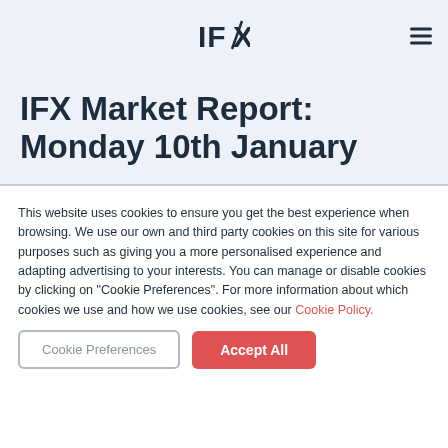IFX
IFX Market Report: Monday 10th January
This website uses cookies to ensure you get the best experience when browsing. We use our own and third party cookies on this site for various purposes such as giving you a more personalised experience and adapting advertising to your interests. You can manage or disable cookies by clicking on "Cookie Preferences". For more information about which cookies we use and how we use cookies, see our Cookie Policy.